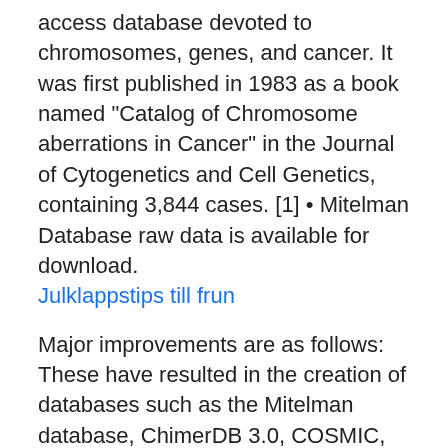access database devoted to chromosomes, genes, and cancer. It was first published in 1983 as a book named "Catalog of Chromosome aberrations in Cancer" in the Journal of Cytogenetics and Cell Genetics, containing 3,844 cases. [1] • Mitelman Database raw data is available for download.
Julklappstips till frun
Major improvements are as follows: These have resulted in the creation of databases such as the Mitelman database, ChimerDB 3.0, COSMIC, dbCRID, HybridDB, TICdb and FusionGDB. (23, 33, 35–40). These databases have actively supported research in their respective domains. i came across Mitelman Database of Chromosome Aberrations in Cancer, a db of genotype-phenotype data, particularly for cancers: ftp: 2019-09-25 · The